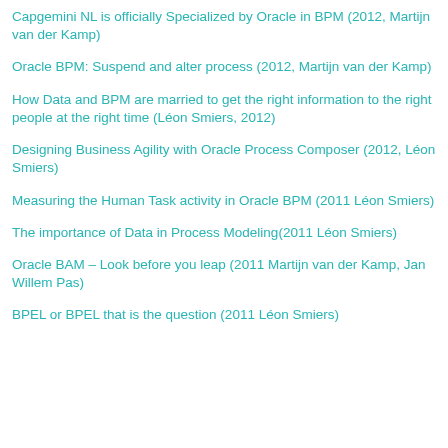Capgemini NL is officially Specialized by Oracle in BPM (2012, Martijn van der Kamp)
Oracle BPM: Suspend and alter process (2012, Martijn van der Kamp)
How Data and BPM are married to get the right information to the right people at the right time (Léon Smiers, 2012)
Designing Business Agility with Oracle Process Composer (2012, Léon Smiers)
Measuring the Human Task activity in Oracle BPM (2011 Léon Smiers)
The importance of Data in Process Modeling(2011 Léon Smiers)
Oracle BAM – Look before you leap (2011 Martijn van der Kamp, Jan Willem Pas)
BPEL or BPEL that is the question (2011 Léon Smiers)